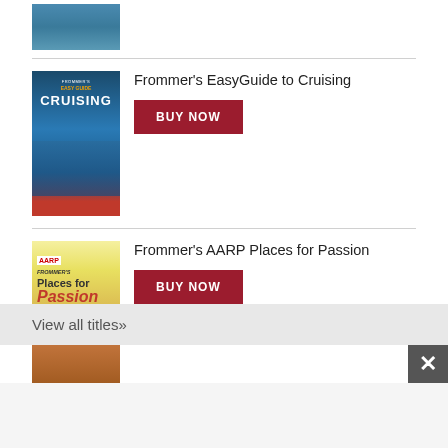[Figure (photo): Partial view of a travel book cover at the top of the page]
Frommer's EasyGuide to Cruising
BUY NOW
Frommer's AARP Places for Passion
BUY NOW
View all titles»